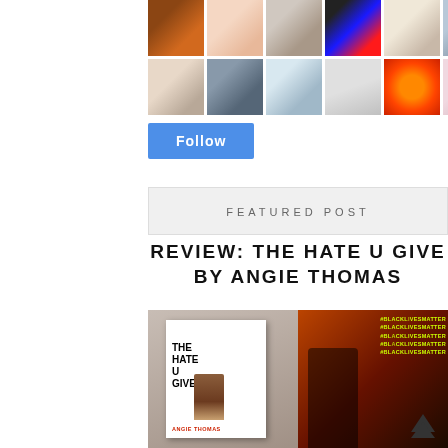[Figure (photo): Grid of 14 small avatar/profile photos in two rows of 7]
[Figure (screenshot): Blue Follow button]
FEATURED POST
REVIEW: THE HATE U GIVE BY ANGIE THOMAS
[Figure (photo): Composite image: left half shows book cover of 'The Hate U Give' by Angie Thomas on a crowd background; right half shows protest scene with man speaking into megaphone wearing #BlackLivesMatter shirt]